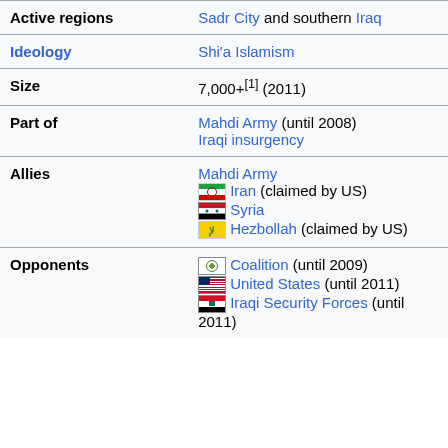| Field | Value |
| --- | --- |
| Active regions | Sadr City and southern Iraq |
| Ideology | Shi'a Islamism |
| Size | 7,000+[1] (2011) |
| Part of | Mahdi Army (until 2008)
Iraqi insurgency |
| Allies | Mahdi Army
Iran (claimed by US)
Syria
Hezbollah (claimed by US) |
| Opponents | Coalition (until 2009)
United States (until 2011)
Iraqi Security Forces (until 2011) |